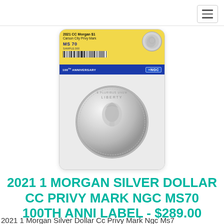[Figure (photo): NGC graded slab holder containing a 2021 CC Morgan Silver Dollar with yellow label reading '2021 CC Morgan $1 Carson City Privy Mark MS 70 SAMPLE.000' and barcode, with '100th ANNIVERSARY' text and NGC logo in blue banner. The coin shows the Morgan dollar obverse (Liberty head) at the bottom of the slab.]
2021 1 MORGAN SILVER DOLLAR CC PRIVY MARK NGC MS70 100TH ANNI LABEL - $289.00
2021 1 Morgan Silver Dollar Cc Privy Mark Ngc Ms7... 100th Anni label